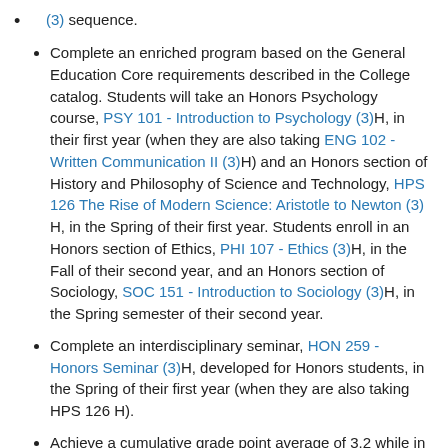(3) sequence.
Complete an enriched program based on the General Education Core requirements described in the College catalog. Students will take an Honors Psychology course, PSY 101 - Introduction to Psychology (3)H, in their first year (when they are also taking ENG 102 - Written Communication II (3)H) and an Honors section of History and Philosophy of Science and Technology, HPS 126 The Rise of Modern Science: Aristotle to Newton (3) H, in the Spring of their first year. Students enroll in an Honors section of Ethics, PHI 107 - Ethics (3)H, in the Fall of their second year, and an Honors section of Sociology, SOC 151 - Introduction to Sociology (3)H, in the Spring semester of their second year.
Complete an interdisciplinary seminar, HON 259 - Honors Seminar (3)H, developed for Honors students, in the Spring of their first year (when they are also taking HPS 126 H).
Achieve a cumulative grade point average of 3.2 while in the Honors Program
Students who successfully complete Utica College Honors will have their achievement noted on their Utica College transcripts. Please note that Honors Program students are expected to adhere to strict standards of academic honesty and integrity. Instances of